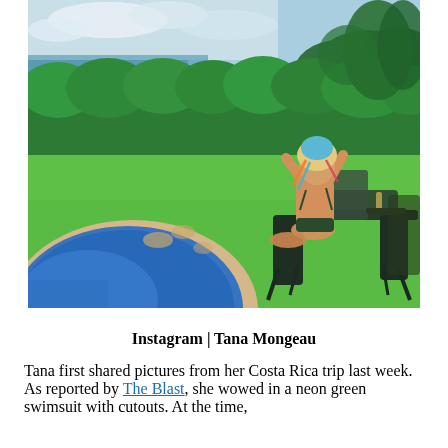[Figure (photo): A woman in a dark green bikini sits on a lounge chair on a bright green lawn, viewed from behind, with her hands raised to her colorfully decorated hair. A circular pool edge is visible in the lower left, with lush green hedges, tropical trees, and an ocean view in the background under a partly cloudy sky.]
Instagram | Tana Mongeau
Tana first shared pictures from her Costa Rica trip last week. As reported by The Blast, she wowed in a neon green swimsuit with cutouts. At the time,